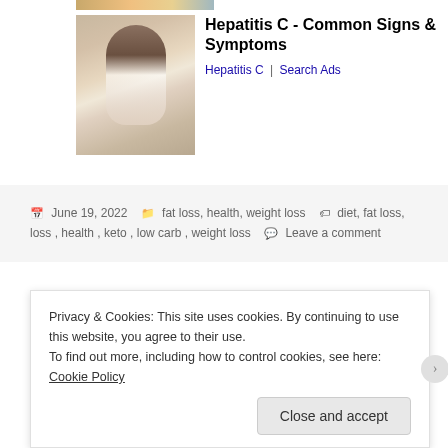[Figure (photo): Partial top of a photo showing orange and blue colors at the very top of the page]
[Figure (photo): Photo of a woman with long dark hair, viewed from behind, wearing a white top, with hands on her lower back suggesting back pain]
Hepatitis C - Common Signs & Symptoms
Hepatitis C | Search Ads
June 19, 2022  fat loss, health, weight loss  diet, fat loss, health, keto, low carb, weight loss  Leave a comment
What is Metabolic Health?
Privacy & Cookies: This site uses cookies. By continuing to use this website, you agree to their use.
To find out more, including how to control cookies, see here: Cookie Policy
Close and accept